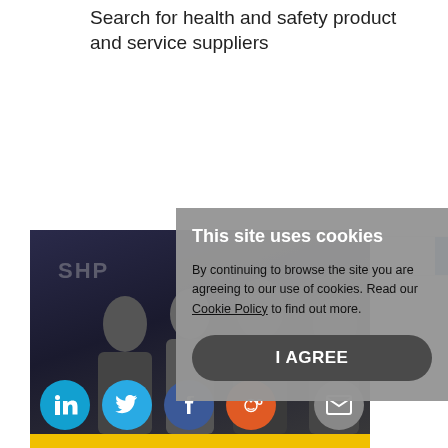Search for health and safety product and service suppliers
[Figure (screenshot): Search box with placeholder text 'Search the SHP Directory...' and a blue search button with magnifier icon]
[Figure (photo): Black and white photo of several people in business attire with social media icons (LinkedIn, Twitter, Facebook, Reddit, email) overlaid at the bottom]
This site uses cookies
By continuing to browse the site you are agreeing to our use of cookies. Read our Cookie Policy to find out more.
I AGREE